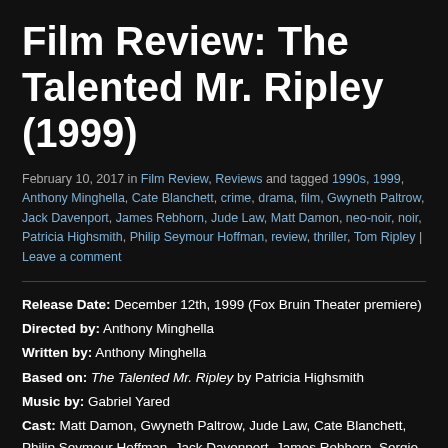Film Review: The Talented Mr. Ripley (1999)
February 10, 2017 in Film Review, Reviews and tagged 1990s, 1999, Anthony Minghella, Cate Blanchett, crime, drama, film, Gwyneth Paltrow, Jack Davenport, James Rebhorn, Jude Law, Matt Damon, neo-noir, noir, Patricia Highsmith, Philip Seymour Hoffman, review, thriller, Tom Ripley | Leave a comment
Release Date: December 12th, 1999 (Fox Bruin Theater premiere)
Directed by: Anthony Minghella
Written by: Anthony Minghella
Based on: The Talented Mr. Ripley by Patricia Highsmith
Music by: Gabriel Yared
Cast: Matt Damon, Gwyneth Paltrow, Jude Law, Cate Blanchett, Philip Seymour Hoffman, Jack Davenport, James Rebhorn, Sergio Rubini, Philip Baker Hall
Mirage Enterprises, Timnick Films, Paramount Pictures, Miramax Films, 138 Minutes